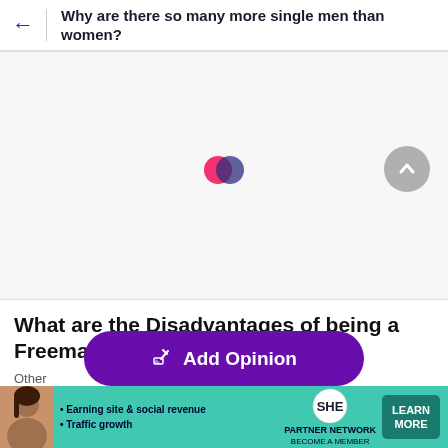Why are there so many more single men than women?
[Figure (other): Loading spinner icon with overlapping pink and dark blue/purple circles, and a circular scroll-to-top button with upward chevron on the right]
What are the Disadvantages of being a Freemason?
Other
What would you consider being a freemason in terms of advantages and disadvantages?
[Figure (other): Purple 'Add Opinion' button with pen/edit icon]
[Figure (other): SHE Partner Network advertisement banner with teal background, woman photo, bullet points about earning site and traffic growth, SHE logo, and Learn More button]